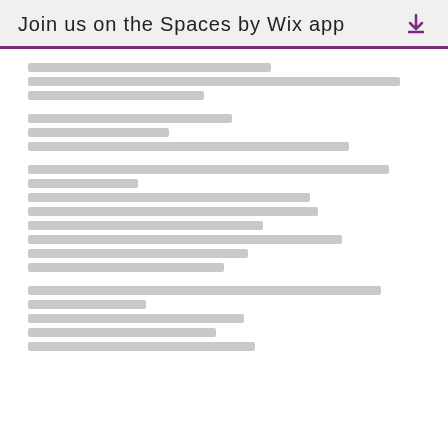Join us on the Spaces by Wix app
[redacted/obfuscated text block 1]
[redacted/obfuscated text block 2]
[redacted/obfuscated text block 3]
[redacted/obfuscated text block 4]